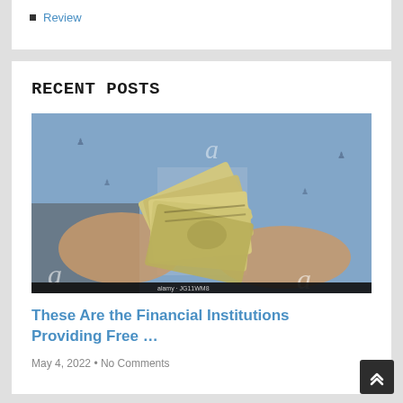Review
RECENT POSTS
[Figure (photo): A person in a blue patterned shirt counting a large stack of US $100 bills. Alamy stock image watermark visible. Image credit: alamy · JG11WM8]
These Are the Financial Institutions Providing Free …
May 4, 2022 • No Comments